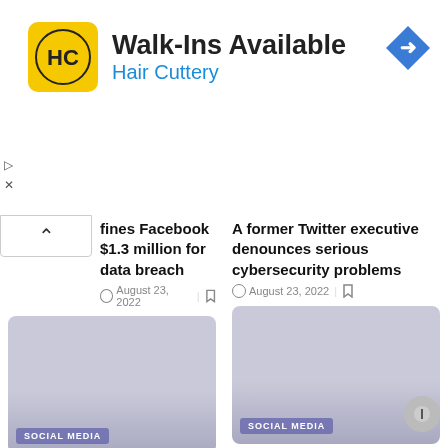[Figure (screenshot): Hair Cuttery advertisement banner with logo, Walk-Ins Available text, and navigation icon]
fines Facebook $1.3 million for data breach
August 23, 2022
A former Twitter executive denounces serious cybersecurity problems
August 23, 2022
[Figure (photo): Social media article image with SOCIAL MEDIA label]
[Figure (photo): Social media article image with SOCIAL MEDIA label]
Instagram on iPhone is able to monitor user activity on other websites
Twitter activates functions against disinformation before the US elections